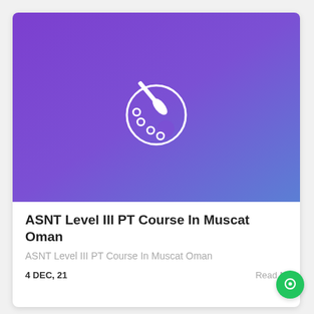[Figure (illustration): Purple to blue gradient rectangle with a white paint palette icon (artist palette with brush) centered in the image]
ASNT Level III PT Course In Muscat Oman
ASNT Level III PT Course In Muscat Oman
4 DEC, 21
Read M